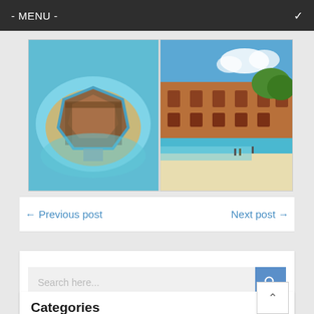- MENU -
[Figure (photo): Aerial view of Fort Jefferson, a large masonry fort on a small island surrounded by turquoise water in Dry Tortugas National Park]
[Figure (photo): Ground-level view of Fort Jefferson with turquoise water, white sandy beach, and blue sky]
← Previous post
Next post →
Search here...
Categories